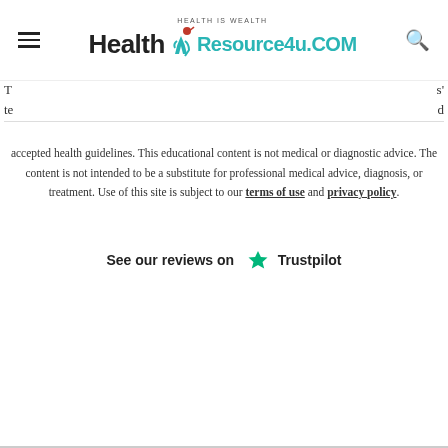[Figure (logo): Health Resource4u.COM logo with tagline 'HEALTH IS WEALTH' and a stylized human figure in teal/red]
T ... s'
te ... d
accepted health guidelines. This educational content is not medical or diagnostic advice. The content is not intended to be a substitute for professional medical advice, diagnosis, or treatment. Use of this site is subject to our terms of use and privacy policy.
See our reviews on ★ Trustpilot
[Figure (infographic): Infolinks and Ezoic advertisement bar with 'report this ad' link and '40% off Womens Clothing' ad from Ashley Stewart at bit.ly]